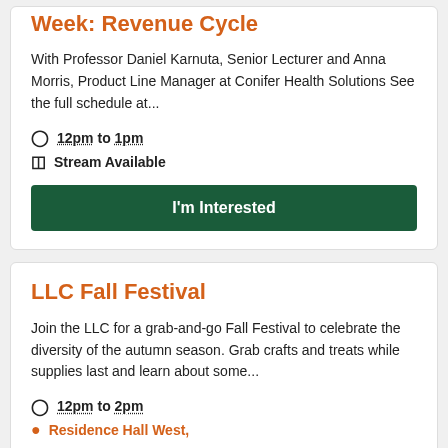Week: Revenue Cycle
With Professor Daniel Karnuta, Senior Lecturer and Anna Morris, Product Line Manager at Conifer Health Solutions See the full schedule at...
12pm to 1pm
Stream Available
I'm Interested
LLC Fall Festival
Join the LLC for a grab-and-go Fall Festival to celebrate the diversity of the autumn season. Grab crafts and treats while supplies last and learn about some...
12pm to 2pm
Residence Hall West,